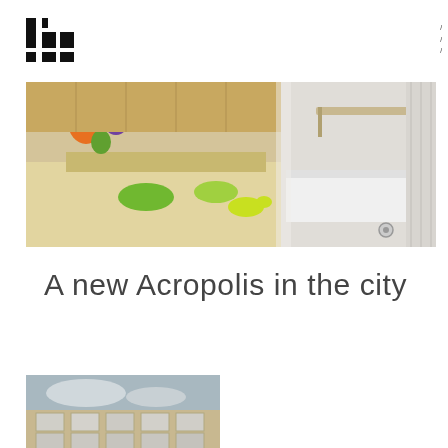[Figure (logo): Black pixel/block logo resembling stacked rectangles and squares]
menu navigation items (top right, partially visible)
[Figure (photo): Interior photo showing a children's play area with colorful cushions and toys on the left, and a hospital bed with metal railings on the right, wooden flooring and shelving visible]
A new Acropolis in the city
[Figure (photo): Exterior photo of a modern building with large windows, viewed from street level, overcast sky in background]